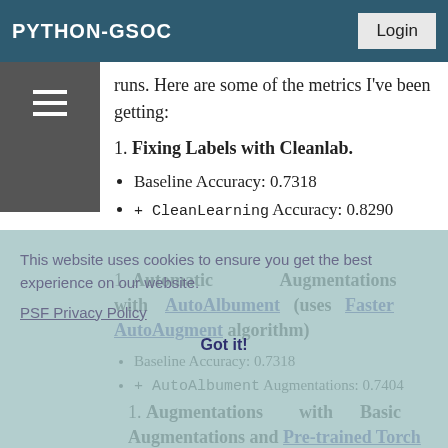PYTHON-GSOC
runs. Here are some of the metrics I've been getting:
1. Fixing Labels with Cleanlab.
Baseline Accuracy: 0.7318
+ CleanLearning Accuracy: 0.8290
1. Automatic Augmentations with AutoAlbument (uses Faster AutoAugment algorithm)
Baseline Accuracy: 0.7318
+ AutoAlbument Augmentations: 0.7404
1. Augmentations with Basic Augmentations and Pre-trained Torch
This website uses cookies to ensure you get the best experience on our website. PSF Privacy Policy
Got it!